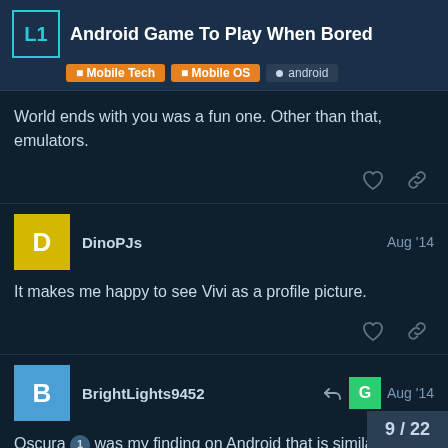Android Game To Play When Bored | Mobile Tech | Mobile OS | android
World ends with you was a fun one. Other than that, emulators.
DinoPJs Aug '14 — It makes me happy to see Vivi as a profile picture.
BrightLights9452 Aug '14 — Oscura 1 was my finding on Android that is similar to Limbo. Fun game, not enough levels though.
9 / 22